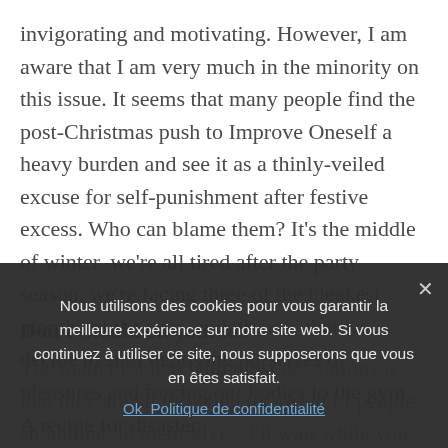invigorating and motivating. However, I am aware that I am very much in the minority on this issue. It seems that many people find the post-Christmas push to Improve Oneself a heavy burden and see it as a thinly-veiled excuse for self-punishment after festive excess. Who can blame them? It's the middle of winter, we're all tired after the party season, we're facing three of the bleakest months of the year, and it's now that we decide to start depriving ourselves of pleasures and forcing our bodies to the gym. A recipe for disaster.
Don't should on yourself
The main problem with most resolutions is that they are all too often the result of people shoulding on themselves. I'll wait while you re-read that
Nous utilisons des cookies pour vous garantir la meilleure expérience sur notre site web. Si vous continuez à utiliser ce site, nous supposerons que vous en êtes satisfait.
Ok Politique de confidentialité